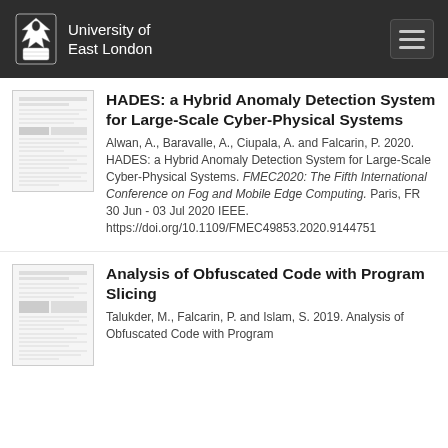University of East London
[Figure (screenshot): Thumbnail of academic paper on HADES]
HADES: a Hybrid Anomaly Detection System for Large-Scale Cyber-Physical Systems
Alwan, A., Baravalle, A., Ciupala, A. and Falcarin, P. 2020. HADES: a Hybrid Anomaly Detection System for Large-Scale Cyber-Physical Systems. FMEC2020: The Fifth International Conference on Fog and Mobile Edge Computing. Paris, FR 30 Jun - 03 Jul 2020 IEEE. https://doi.org/10.1109/FMEC49853.2020.9144751
[Figure (screenshot): Thumbnail of academic paper on Analysis of Obfuscated Code]
Analysis of Obfuscated Code with Program Slicing
Talukder, M., Falcarin, P. and Islam, S. 2019. Analysis of Obfuscated Code with Program